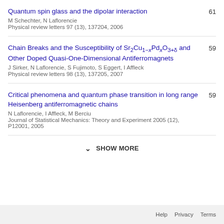Quantum spin glass and the dipolar interaction | M Schechter, N Laflorencie | Physical review letters 97 (13), 137204, 2006 | 61
Chain Breaks and the Susceptibility of Sr2Cu1-xPdxO3+delta and Other Doped Quasi-One-Dimensional Antiferromagnets | J Sirker, N Laflorencie, S Fujimoto, S Eggert, I Affleck | Physical review letters 98 (13), 137205, 2007 | 59
Critical phenomena and quantum phase transition in long range Heisenberg antiferromagnetic chains | N Laflorencie, I Affleck, M Berciu | Journal of Statistical Mechanics: Theory and Experiment 2005 (12), P12001, 2005 | 59
SHOW MORE
Help  Privacy  Terms